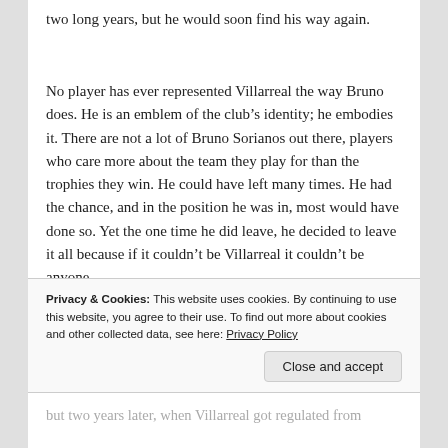two long years, but he would soon find his way again.
No player has ever represented Villarreal the way Bruno does. He is an emblem of the club’s identity; he embodies it. There are not a lot of Bruno Sorianos out there, players who care more about the team they play for than the trophies they win. He could have left many times. He had the chance, and in the position he was in, most would have done so. Yet the one time he did leave, he decided to leave it all because if it couldn’t be Villarreal it couldn’t be anyone.
After reaching an historic second place in La Liga
Privacy & Cookies: This website uses cookies. By continuing to use this website, you agree to their use. To find out more about cookies and other collected data, see here: Privacy Policy
Close and accept
but two years later, when Villarreal got regulated from